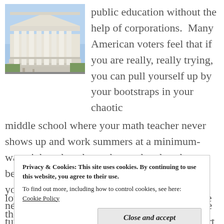[Figure (photo): Photo of a large white classical building with columns, likely the US Supreme Court, under a blue sky]
public education without the help of corporations.  Many American voters feel that if you are really, really trying, you can pull yourself up by your bootstraps in your chaotic middle school where your math teacher never shows up and work summers at a minimum-wage job and study on the weekends at home because your library's hours are limited until you save up the cash to get the $40 grand you need for college.  Voters aren't paying for more tutoring, after school programs, or state support for
Privacy & Cookies: This site uses cookies. By continuing to use this website, you agree to their use.
To find out more, including how to control cookies, see here: Cookie Policy
loyal cafeteria contracts, but when you balance the